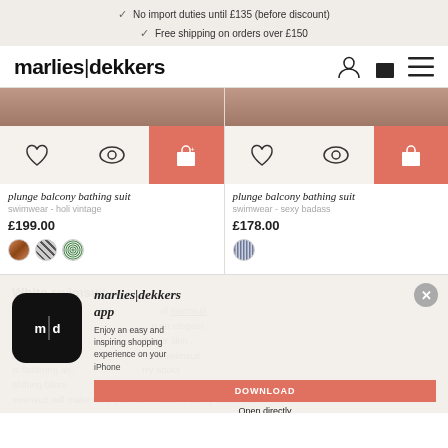No import duties until £135 (before discount)
Free shipping on orders over £150
[Figure (screenshot): marlies|dekkers logo with account, bag and menu icons]
[Figure (screenshot): Two product listings: plunge balcony bathing suit in holi vintage (£199.00) and sexy badass (£178.00) with colour swatches and action icons]
White swimwear
White might not be an obvious choice of swimsuit, but rest assured, it can be an elegant white swimsuit that complements your skin and immediately brightens a tan face, a swimsuit is flattering and... worry about shifting bikini... water: a swimsuit will make sure you won't have to worry about this.
[Figure (screenshot): marlies|dekkers app download popup with app icon, description, DOWNLOAD button, Open directly link, and 3128 star ratings]